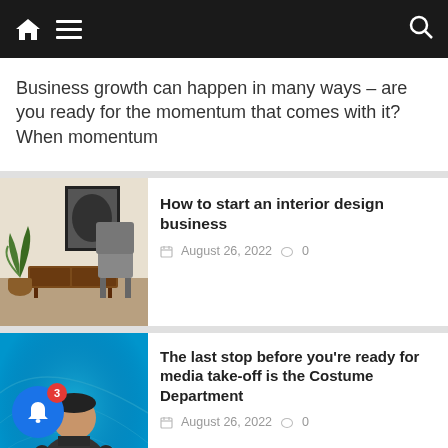Navigation bar with home, menu, and search icons
Business growth can happen in many ways – are you ready for the momentum that comes with it? When momentum
[Figure (photo): Interior design photo showing a room with a plant, sideboard, and chair]
How to start an interior design business
August 26, 2022   0
[Figure (photo): Person speaking on a stage with blue background]
The last stop before you're ready for media take-off is the Costume Department
August 26, 2022   0
[Figure (photo): Person looking to the side in a professional setting]
Building a resilient IT organization
28 minutes ago